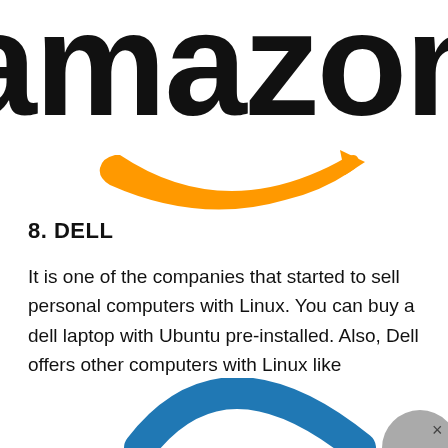[Figure (logo): Amazon logo — large black 'amazon' wordmark with orange smile/arrow swoosh beneath it, partially cropped at top]
8. DELL
It is one of the companies that started to sell personal computers with Linux. You can buy a dell laptop with Ubuntu pre-installed. Also, Dell offers other computers with Linux like workstations and servers.
[Figure (logo): Partial blue arc logo visible at bottom of page, cut off — appears to be beginning of another company logo]